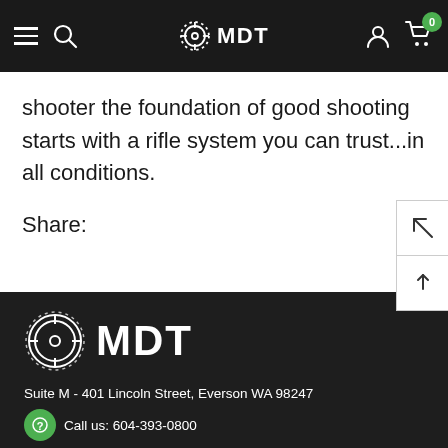MDT navigation bar with hamburger menu, search icon, MDT logo, account icon, and cart with badge 0
shooter the foundation of good shooting starts with a rifle system you can trust...in all conditions.
Share:
[Figure (logo): MDT brand logo: crosshair/gear icon with text MDT on dark footer background]
Suite M - 401 Lincoln Street, Everson WA 98247
Call us: 604-393-0800
SUPPORT